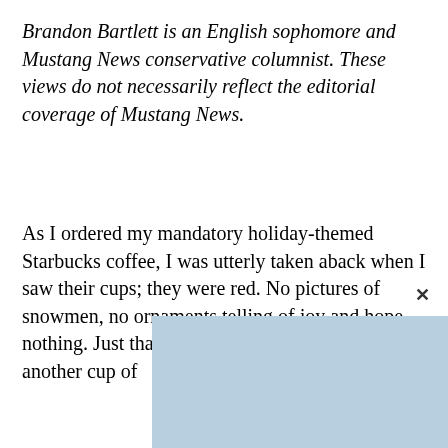Brandon Bartlett is an English sophomore and Mustang News conservative columnist. These views do not necessarily reflect the editorial coverage of Mustang News.
As I ordered my mandatory holiday-themed Starbucks coffee, I was utterly taken aback when I saw their cups; they were red. No pictures of snowmen, no ornaments telling of joy and hope, nothing. Just that pagan siren calling me back for another cup of